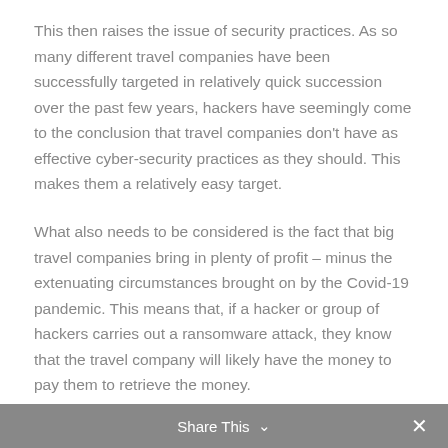This then raises the issue of security practices. As so many different travel companies have been successfully targeted in relatively quick succession over the past few years, hackers have seemingly come to the conclusion that travel companies don't have as effective cyber-security practices as they should. This makes them a relatively easy target.
What also needs to be considered is the fact that big travel companies bring in plenty of profit – minus the extenuating circumstances brought on by the Covid-19 pandemic. This means that, if a hacker or group of hackers carries out a ransomware attack, they know that the travel company will likely have the money to pay them to retrieve the money.
Which Travel Companies Have Been Targeted by Hackers in Recent Years?
Share This ∨  ✕